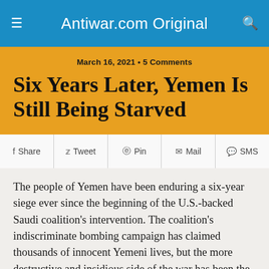Antiwar.com Original
March 16, 2021 • 5 Comments
Six Years Later, Yemen Is Still Being Starved
Share | Tweet | Pin | Mail | SMS
The people of Yemen have been enduring a six-year siege ever since the beginning of the U.S.-backed Saudi coalition's intervention. The coalition's indiscriminate bombing campaign has claimed thousands of innocent Yemeni lives, but the more destructive and insidious side of the war has been the blockade and the economic warfare that has